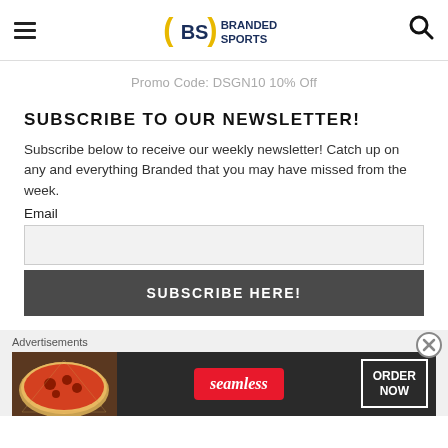(BS) BRANDED SPORTS
Promo Code: DSGN10 10% Off
SUBSCRIBE TO OUR NEWSLETTER!
Subscribe below to receive our weekly newsletter! Catch up on any and everything Branded that you may have missed from the week.
Email
[Figure (screenshot): Email input field (empty, light gray background)]
SUBSCRIBE HERE!
[Figure (infographic): Seamless food delivery advertisement banner with pizza image, Seamless red badge, and ORDER NOW box]